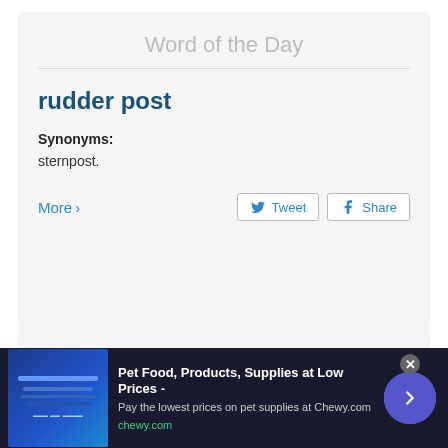Word of the Day
rudder post
Synonyms:
sternpost.
More ›
Nearby words
[Figure (other): Advertisement banner for Chewy.com pet food supplies with logo image, text, and navigation arrow button]